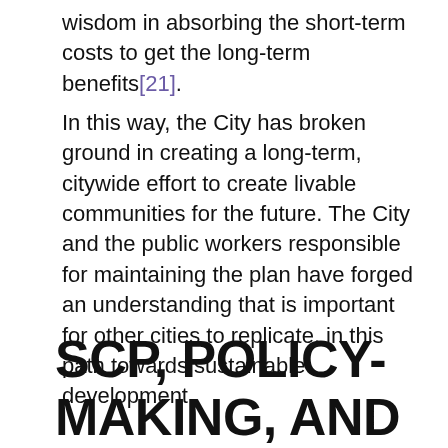wisdom in absorbing the short-term costs to get the long-term benefits[21].
In this way, the City has broken ground in creating a long-term, citywide effort to create livable communities for the future. The City and the public workers responsible for maintaining the plan have forged an understanding that is important for other cities to replicate, in this path towards sustainable development.
SCP, POLICY-MAKING, AND PEAK OIL